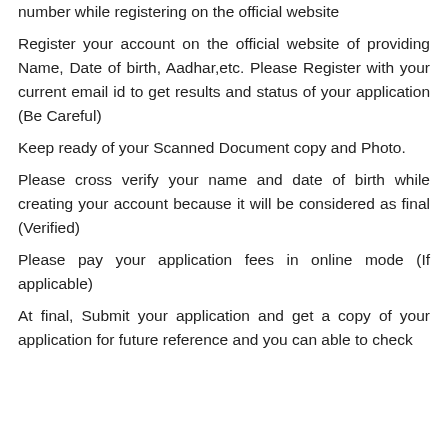number while registering on the official website
Register your account on the official website of providing Name, Date of birth, Aadhar,etc. Please Register with your current email id to get results and status of your application (Be Careful)
Keep ready of your Scanned Document copy and Photo.
Please cross verify your name and date of birth while creating your account because it will be considered as final (Verified)
Please pay your application fees in online mode (If applicable)
At final, Submit your application and get a copy of your application for future reference and you can able to check